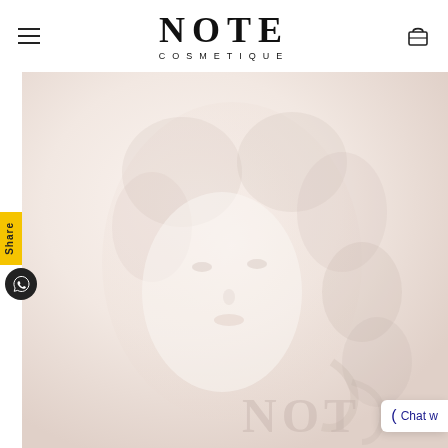[Figure (logo): NOTE COSMETIQUE brand logo with hamburger menu icon on left and shopping bag icon on right]
[Figure (photo): Faint, light-toned promotional hero image of a woman with curly hair against a soft pinkish-white background, with NOTE watermark text partially visible at bottom right]
Share
[Figure (other): WhatsApp circular button icon]
Chat w